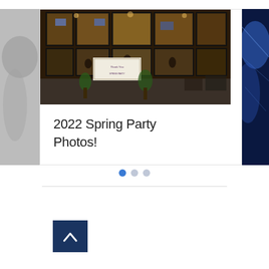[Figure (photo): Carousel showing a restaurant/bar exterior at night with glass facade and indoor lighting. Two partial images visible on the sides — a monochrome image on the left and a blue abstract image on the right.]
2022 Spring Party Photos!
[Figure (other): Carousel navigation dots: three dots, first one is blue (active), other two are grey (inactive).]
[Figure (other): Back to top button: dark navy blue square with white upward chevron arrow.]